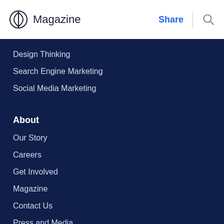Magazine | Share | Search
Design Thinking
Search Engine Marketing
Social Media Marketing
About
Our Story
Careers
Get Involved
Magazine
Contact Us
Press and Media
Blog
For Companies